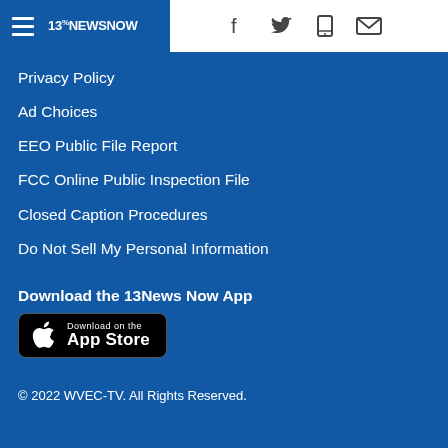13NewsNow
Privacy Policy
Ad Choices
EEO Public File Report
FCC Online Public Inspection File
Closed Caption Procedures
Do Not Sell My Personal Information
Download the 13News Now App
[Figure (logo): Download on the App Store button]
© 2022 WVEC-TV. All Rights Reserved.